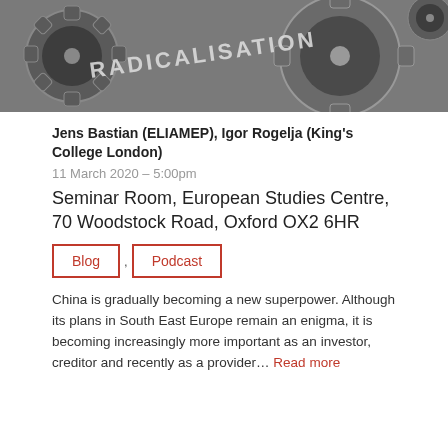[Figure (photo): Gears/cogs with the word RADICALISATION engraved on them, metallic industrial photograph]
Jens Bastian (ELIAMEP), Igor Rogelja (King's College London)
11 March 2020 – 5:00pm
Seminar Room, European Studies Centre, 70 Woodstock Road, Oxford OX2 6HR
Blog
Podcast
China is gradually becoming a new superpower. Although its plans in South East Europe remain an enigma, it is becoming increasingly more important as an investor, creditor and recently as a provider… Read more